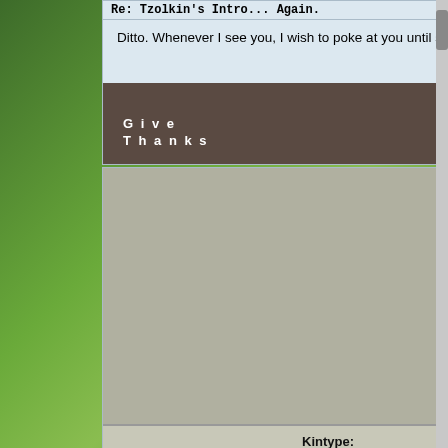Re: Tzolkin's Intro... Again.    Post: #3
Ditto. Whenever I see you, I wish to poke at you until some sort of secret appears.
2008-01-11 6:37
Find    Quote
Give Thanks
Xanthus
Computer Guy
[Figure (photo): Avatar image of a stylized dark face with large red eyes and white/black patterning, resembling a theatrical or game character mask]
| Kintype: | Gender: | Reputation: | Contribution: |
| --- | --- | --- | --- |
|  |  |
| 0 | ★ |
Re: Tzolkin's Intro... Again.    Post: #4
Kayako Wrote:
I wish to poke at you until some sort of secret appears.